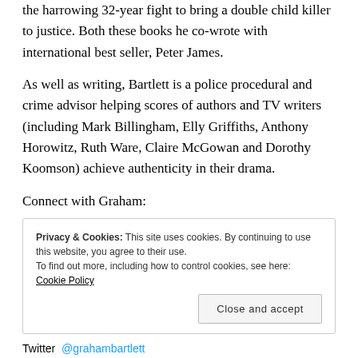the harrowing 32-year fight to bring a double child killer to justice. Both these books he co-wrote with international best seller, Peter James.
As well as writing, Bartlett is a police procedural and crime advisor helping scores of authors and TV writers (including Mark Billingham, Elly Griffiths, Anthony Horowitz, Ruth Ware, Claire McGowan and Dorothy Koomson) achieve authenticity in their drama.
Connect with Graham:
Privacy & Cookies: This site uses cookies. By continuing to use this website, you agree to their use. To find out more, including how to control cookies, see here: Cookie Policy
Twitter @grahambartlett